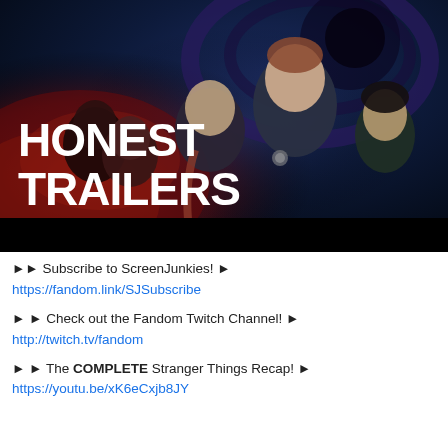[Figure (screenshot): Honest Trailers thumbnail image featuring Stranger Things characters with bold white text 'HONEST TRAILERS' on the left side, set against a dramatic sci-fi background with red and blue tones. Characters visible include several young actors in Stranger Things style.]
►► Subscribe to ScreenJunkies! ►
https://fandom.link/SJSubscribe
►► Check out the Fandom Twitch Channel! ►
http://twitch.tv/fandom
►► The COMPLETE Stranger Things Recap! ►
https://youtu.be/xK6eCxjb8JY